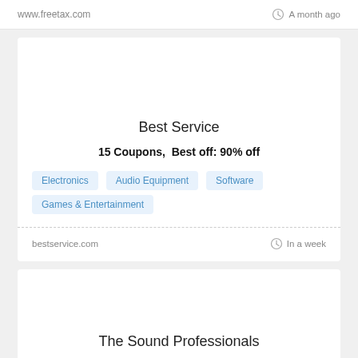www.freetax.com   A month ago
Best Service
15 Coupons,  Best off: 90% off
Electronics
Audio Equipment
Software
Games & Entertainment
bestservice.com   In a week
The Sound Professionals
10 Coupons  Best off: 83% off